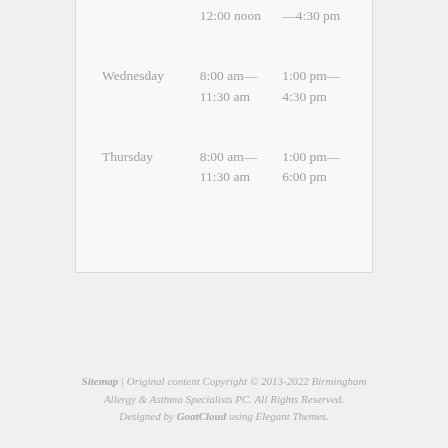| Day | Morning | Afternoon |
| --- | --- | --- |
|  | 12:00 noon | —4:30 pm |
| Wednesday | 8:00 am—
11:30 am | 1:00 pm—
4:30 pm |
| Thursday | 8:00 am—
11:30 am | 1:00 pm—
6:00 pm |
Sitemap | Original content Copyright © 2013-2022 Birmingham Allergy & Asthma Specialists PC. All Rights Reserved. Designed by GoatCloud using Elegant Themes.